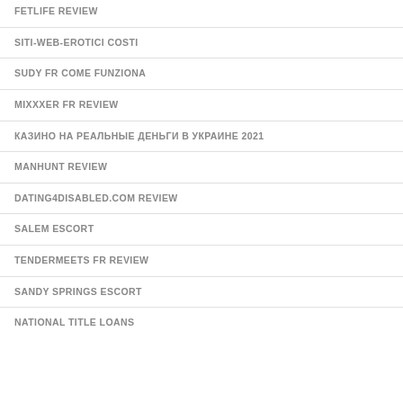FETLIFE REVIEW
SITI-WEB-EROTICI COSTI
SUDY FR COME FUNZIONA
MIXXXER FR REVIEW
КАЗИНО НА РЕАЛЬНЫЕ ДЕНЬГИ В УКРАИНЕ 2021
MANHUNT REVIEW
DATING4DISABLED.COM REVIEW
SALEM ESCORT
TENDERMEETS FR REVIEW
SANDY SPRINGS ESCORT
NATIONAL TITLE LOANS